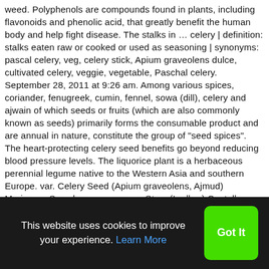weed. Polyphenols are compounds found in plants, including flavonoids and phenolic acid, that greatly benefit the human body and help fight disease. The stalks in … celery | definition: stalks eaten raw or cooked or used as seasoning | synonyms: pascal celery, veg, celery stick, Apium graveolens dulce, cultivated celery, veggie, vegetable, Paschal celery. September 28, 2011 at 9:26 am. Among various spices, coriander, fenugreek, cumin, fennel, sowa (dill), celery and ajwain of which seeds or fruits (which are also commonly known as seeds) primarily forms the consumable product and are annual in nature, constitute the group of "seed spices". The heart-protecting celery seed benefits go beyond reducing blood pressure levels. The liquorice plant is a herbaceous perennial legume native to the Western Asia and southern Europe. var. Celery Seed (Apium graveolens, Ajmud) Marjoram: Symplocos racemosus Stem (Lodhra) Centella aiatica Herb (Mandukparni, Brahmi) Melissa...
This website uses cookies to improve your experience. Learn More